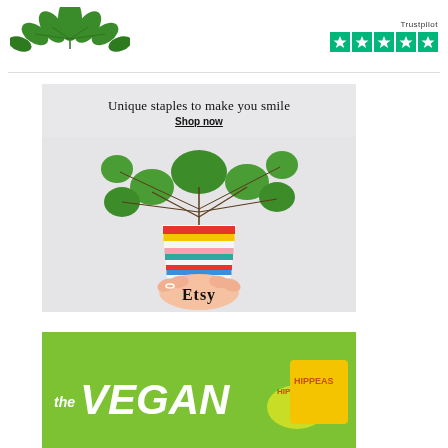[Figure (photo): Cannabis/hemp plant leaves logo in top left corner]
[Figure (logo): Trustpilot logo with 5 green star rating boxes]
[Figure (photo): Etsy advertisement showing a hand holding a rainbow striped plant pot with a Pilea peperomioides (Chinese money plant), with text 'Unique staples to make you smile', 'Shop now', and Etsy branding]
[Figure (photo): The Vegan Kind advertisement with green background, large white italic text 'theVEGAN' and a Hippeas branded yellow package visible on the right]